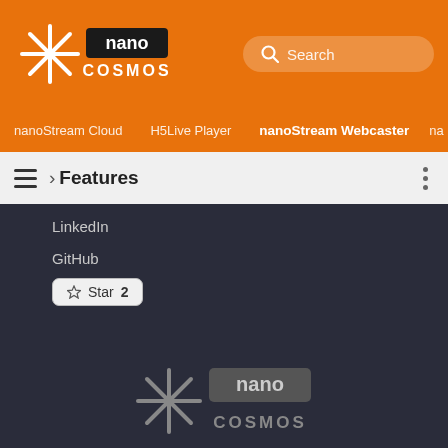nanocosmos logo and Search bar
nanoStream Cloud | H5Live Player | nanoStream Webcaster | na
≡ › Features
LinkedIn
GitHub
Star 2
[Figure (logo): nanocosmos logo in gray on dark background]
Copyright © 2022 nanocosmos GmbH - doc version Mon Aug 01 2022 21:41:18 GMT+0000 (Coordinated Universal Time)